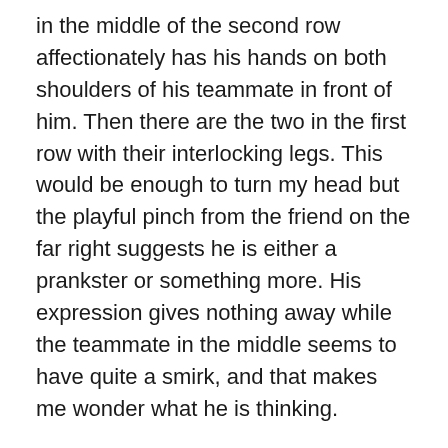in the middle of the second row affectionately has his hands on both shoulders of his teammate in front of him. Then there are the two in the first row with their interlocking legs. This would be enough to turn my head but the playful pinch from the friend on the far right suggests he is either a prankster or something more. His expression gives nothing away while the teammate in the middle seems to have quite a smirk, and that makes me wonder what he is thinking.
I dedicate this weekly post, featuring vintage gay photographs, to the men and women who lived in a more critical time where being true to yourself and loving who you want wasn't always an option and came at a great price. Do you have a photo you would like to share? Email me at bosguymail@gmail.com.